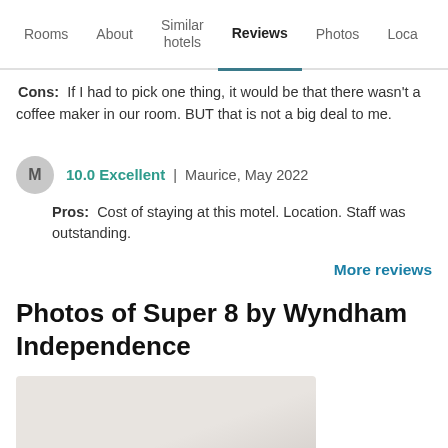Rooms | About | Similar hotels | Reviews | Photos | Loca...
Cons: If I had to pick one thing, it would be that there wasn't a coffee maker in our room. BUT that is not a big deal to me.
10.0 Excellent | Maurice, May 2022
Pros: Cost of staying at this motel. Location. Staff was outstanding.
More reviews
Photos of Super 8 by Wyndham Independence
[Figure (photo): Partial photo of hotel room, showing light beige/off-white surfaces]